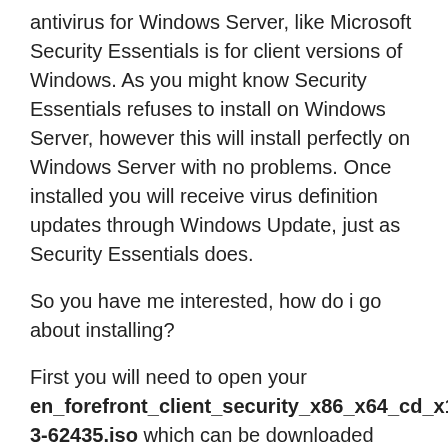antivirus for Windows Server, like Microsoft Security Essentials is for client versions of Windows. As you might know Security Essentials refuses to install on Windows Server, however this will install perfectly on Windows Server with no problems. Once installed you will receive virus definition updates through Windows Update, just as Security Essentials does.
So you have me interested, how do i go about installing?
First you will need to open your en_forefront_client_security_x86_x64_cd_x13-62435.iso which can be downloaded from Technet or MSDN, go in to the /CLIENT/X64/ folder and extract MP_AMRITS.MSI...